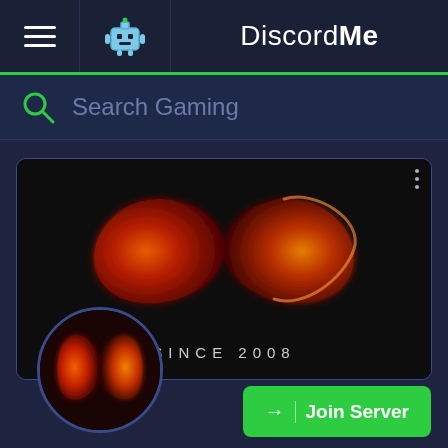DiscordMe
Search Gaming
[Figure (screenshot): Discord server card showing a red infinity symbol logo on dark background with text 'SINCE 2008', a circular server icon with infinity symbol, and a green Join Server button]